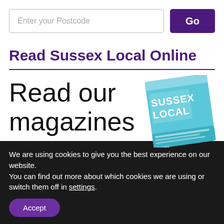Enter your Postcode
Go
Read Sussex Local Online
Read our magazines
[Figure (photo): Sussex Local magazine cover with light blue/teal background and white text reading SUSSEX LOCAL]
We are using cookies to give you the best experience on our website.
You can find out more about which cookies we are using or switch them off in settings.
Accept